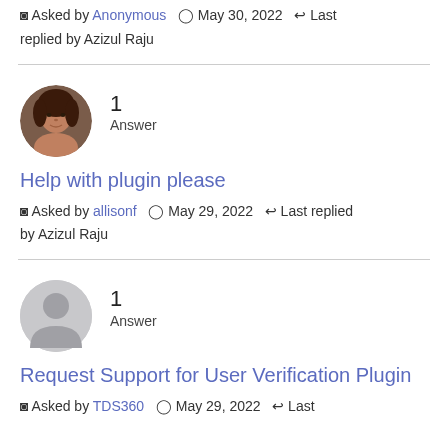⊙ Asked by Anonymous  ⊙ May 30, 2022  ↩ Last replied by Azizul Raju
[Figure (photo): Circular avatar photo of a woman with dark hair]
1 Answer
Help with plugin please
⊙ Asked by allisonf  ⊙ May 29, 2022  ↩ Last replied by Azizul Raju
[Figure (illustration): Circular grey placeholder avatar icon]
1 Answer
Request Support for User Verification Plugin
⊙ Asked by TDS360  ⊙ May 29, 2022  ↩ Last